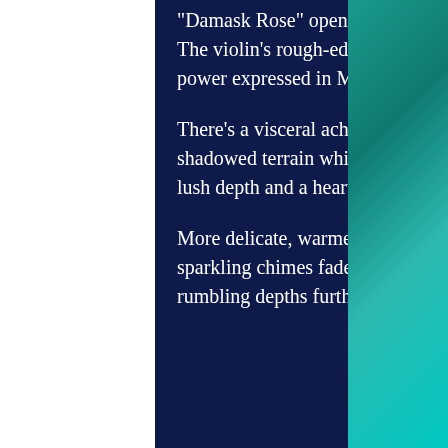“Damask Rose” opens on rushing, airy sounds and an expressive violin. The violin’s rough-edged tone carries a melody redolent with ancient power expressed in Middle Eastern modal scales.
There’s a visceral ache in the violin’s sound as it moves over a shifting, shadowed terrain while shimmering sounds flutter. The strings have a lush depth and a heart-wrenching emotional feeling as they ache.
More delicate, warmer sounds rise along with a low bass drone before sparkling chimes fade into the background with a haunted sonic and the rumbling depths further below